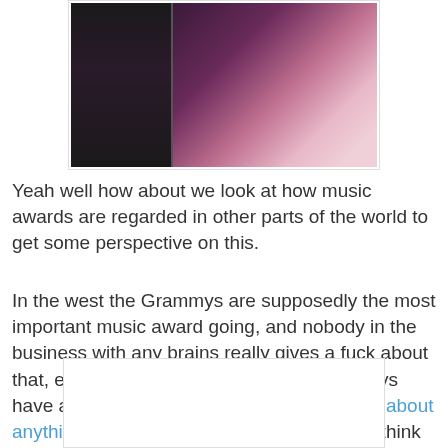[Figure (photo): Two-panel image showing a person laughing/smiling, appears to be a screenshot or animated GIF]
Yeah well how about we look at how music awards are regarded in other parts of the world to get some perspective on this.
In the west the Grammys are supposedly the most important music award going, and nobody in the business with any brains really gives a fuck about that, either.  Maybe it's because the Grammys have a reputation for having no fucking idea about anything regarding music, which one would think might be kind of important for a music award, but even more so it's because it's very obviously an industry circle-jerk.
[Figure (photo): Partially visible image at bottom of page]